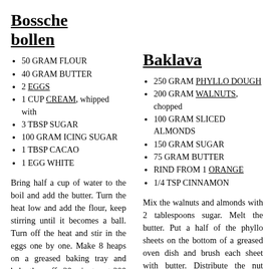Bossche bollen
50 GRAM FLOUR
40 GRAM BUTTER
2 EGGS
1 CUP CREAM, whipped with
3 TBSP SUGAR
100 GRAM ICING SUGAR
1 TBSP CACAO
1 EGG WHITE
Bring half a cup of water to the boil and add the butter. Turn the heat low and add the flour, keep stirring until it becomes a ball. Turn off the heat and stir in the eggs one by one. Make 8 heaps on a greased baking tray and bake the puffs 20 minutes at 200 degrees Celsius. Allow the to cool down and cut them open. Fill
Baklava
250 GRAM PHYLLO DOUGH
200 GRAM WALNUTS, chopped
100 GRAM SLICED ALMONDS
150 GRAM SUGAR
75 GRAM BUTTER
RIND FROM 1 ORANGE
1/4 TSP CINNAMON
Mix the walnuts and almonds with 2 tablespoons sugar. Melt the butter. Put a half of the phyllo sheets on the bottom of a greased oven dish and brush each sheet with butter. Distribute the nut mixture over the dough and cover with the remaining phyllo sheets; brush each with melted butter. Cut the baklava in